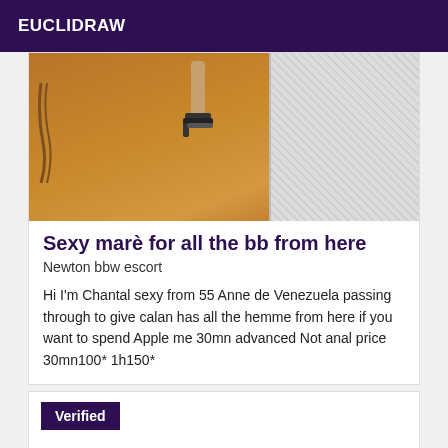EUCLIDRAW
[Figure (photo): Photo showing a person's foot wearing a high-heeled sandal on a wooden floor, with white fabric visible on the right side.]
Sexy marè for all the bb from here
Newton bbw escort
Hi I'm Chantal sexy from 55 Anne de Venezuela passing through to give calan has all the hemme from here if you want to spend Apple me 30mn advanced Not anal price 30mn100* 1h150*
Verified